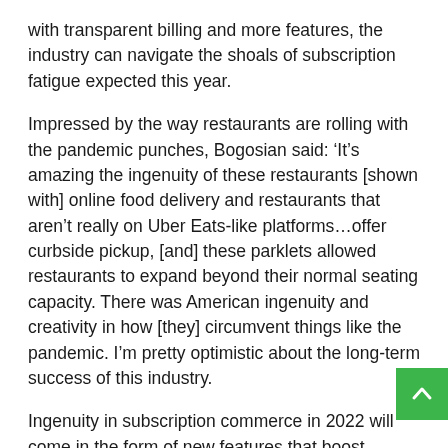with transparent billing and more features, the industry can navigate the shoals of subscription fatigue expected this year.
Impressed by the way restaurants are rolling with the pandemic punches, Bogosian said: ‘It’s amazing the ingenuity of these restaurants [shown with] online food delivery and restaurants that aren’t really on Uber Eats-like platforms…offer curbside pickup, [and] these parklets allowed restaurants to expand beyond their normal seating capacity. There was American ingenuity and creativity in how [they] circumvent things like the pandemic. I’m pretty optimistic about the long-term success of this industry.
Ingenuity in subscription commerce in 2022 will come in the form of new features that boost satisfaction, reduce churn, and increase recurring revenue.
“ We see [more] product exchange, subscription and savings these things are all becoming normal,” Bogosian said. The a to “make whatever changes they want, tailor that subscription